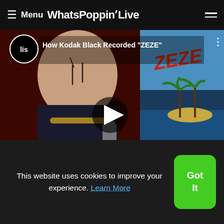≡ Menu WhatsPoppinLive
[Figure (screenshot): YouTube-style video thumbnail showing a young man with face tattoos and gold chain with text 'How Kodak Black Recorded "ZEZE"' and a play button overlay, alongside a tropical island album cover image for ZEZE]
Drugs in America Katt Williams: It's Pimpin' Pimpi
[Figure (photo): Partial image strip, brownish-green tones, bottom of content area]
This website uses cookies to improve your experience. Learn More
Got It